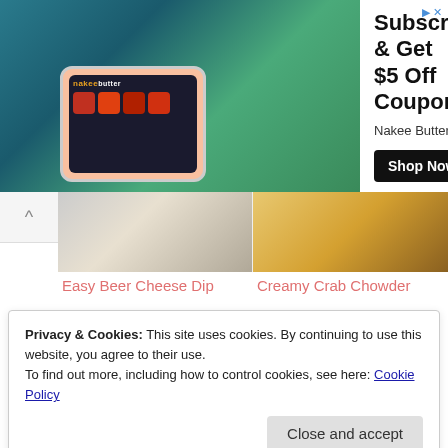[Figure (screenshot): Advertisement banner for Nakee Butter showing a hand holding a smartphone with the app displayed against a waterfall/nature background]
Subscribe & Get $5 Off Coupon
Shop Now
Nakee Butter
[Figure (photo): Recipe card thumbnail for Easy Beer Cheese Dip]
Easy Beer Cheese Dip
[Figure (photo): Recipe card thumbnail for Creamy Crab Chowder]
Creamy Crab Chowder
✦ by shareaholic
ads by shareaholic
Posted in: Recipes, Vegetarian, Veggies and Sides
Filed under: Cauliflower, Cheese, Cheesy Mashed Cauliflower, Sides, vegetables
Privacy & Cookies: This site uses cookies. By continuing to use this website, you agree to their use.
To find out more, including how to control cookies, see here: Cookie Policy
Close and accept